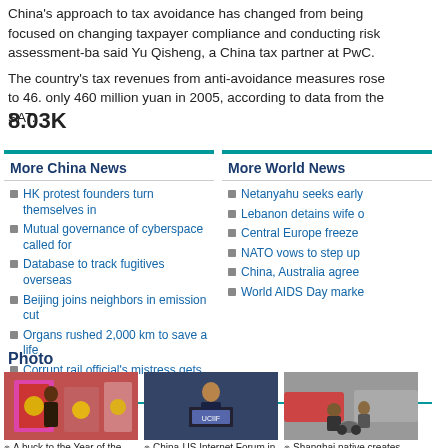China's approach to tax avoidance has changed from being focused on changing taxpayer compliance and conducting risk assessment-based, said Yu Qisheng, a China tax partner at PwC.
The country's tax revenues from anti-avoidance measures rose to 46. only 460 million yuan in 2005, according to data from the SAT.
8.03K
More China News
HK protest founders turn themselves in
Mutual governance of cyberspace called for
Database to track fugitives overseas
Beijing joins neighbors in emission cut
Organs rushed 2,000 km to save a life
Corrupt rail official's mistress gets prison
More World News
Netanyahu seeks early
Lebanon detains wife o
Central Europe freeze
NATO vows to step up
China, Australia agree
World AIDS Day marke
Photo
[Figure (photo): A woman holding red gift boxes, Year of the Goat promotional display]
A buck to the Year of the Goat
[Figure (photo): A man speaking at a podium at the China-US Internet Forum in DC]
China-US Internet Forum in DC
[Figure (photo): Shanghai native with a mini car he created by hand, street scene]
Shanghai native creates mini car by hand